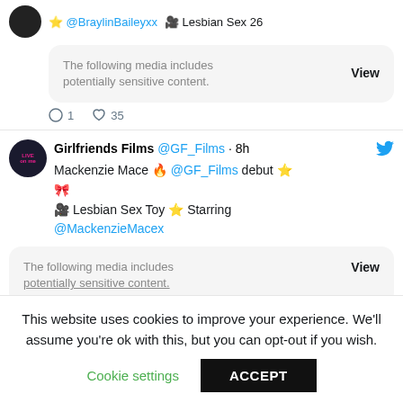⭐ @BraylinBaileyxx 🎥 Lesbian Sex 26
The following media includes potentially sensitive content. View
💬 1  ♡ 35
Girlfriends Films @GF_Films · 8h
Mackenzie Mace 🔥 @GF_Films debut ⭐ 🎀
🎥 Lesbian Sex Toy ⭐ Starring @MackenzieMacex
The following media includes potentially sensitive content. View
This website uses cookies to improve your experience. We'll assume you're ok with this, but you can opt-out if you wish.
Cookie settings  ACCEPT